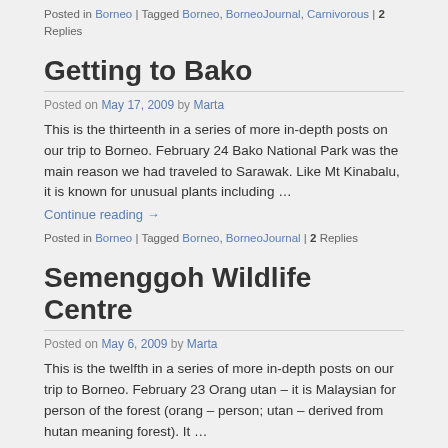Posted in Borneo | Tagged Borneo, BorneoJournal, Carnivorous | 2 Replies
Getting to Bako
Posted on May 17, 2009 by Marta
This is the thirteenth in a series of more in-depth posts on our trip to Borneo. February 24 Bako National Park was the main reason we had traveled to Sarawak. Like Mt Kinabalu, it is known for unusual plants including …
Continue reading →
Posted in Borneo | Tagged Borneo, BorneoJournal | 2 Replies
Semenggoh Wildlife Centre
Posted on May 6, 2009 by Marta
This is the twelfth in a series of more in-depth posts on our trip to Borneo. February 23 Orang utan – it is Malaysian for person of the forest (orang – person; utan – derived from hutan meaning forest). It …
Continue reading →